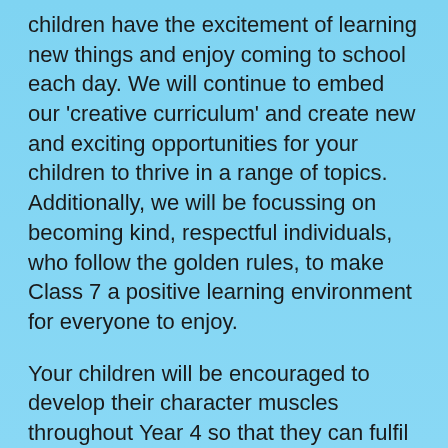children have the excitement of learning new things and enjoy coming to school each day. We will continue to embed our 'creative curriculum' and create new and exciting opportunities for your children to thrive in a range of topics. Additionally, we will be focussing on becoming kind, respectful individuals, who follow the golden rules, to make Class 7 a positive learning environment for everyone to enjoy.
Your children will be encouraged to develop their character muscles throughout Year 4 so that they can fulfil their learning adventures. We will learn how to recognise and celebrate our own and others' unique character strengths and use these to work as a team in the classroom.
Please have a look at the 'End of Year Expectations' leaflets attached below to give